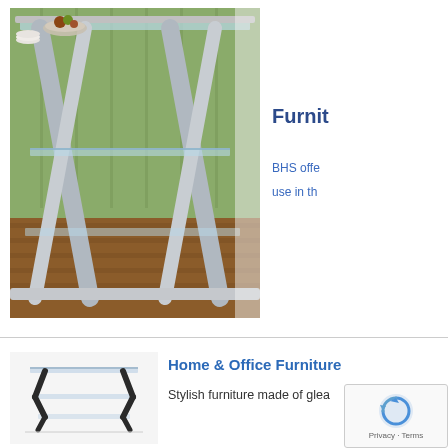[Figure (photo): Close-up photo of a modern glass and metal furniture piece (possibly a console or TV stand) with diagonal chromed metal legs, multiple glass shelves, a green wall in background, decorative bowl on top shelf, on a wooden floor.]
Furnit
BHS offe use in th
[Figure (photo): Small product photo of a modern black metal and glass TV stand/media unit with Z-shaped legs and multiple glass shelves.]
Home & Office Furniture
Stylish furniture made of glea